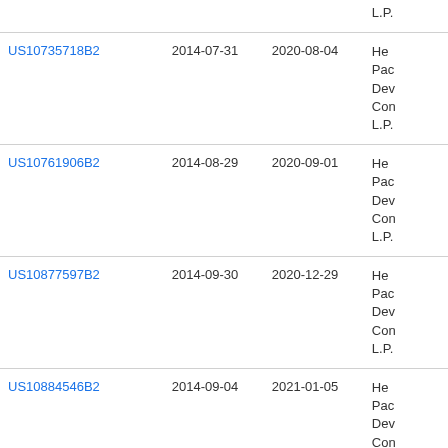| Patent | Filed | Issued | Assignee |
| --- | --- | --- | --- |
| (partial top row) |  |  | L.P. |
| US10735718B2 | 2014-07-31 | 2020-08-04 | He...
Pac...
Dev...
Con...
L.P. |
| US10761906B2 | 2014-08-29 | 2020-09-01 | He...
Pac...
Dev...
Con...
L.P. |
| US10877597B2 | 2014-09-30 | 2020-12-29 | He...
Pac...
Dev...
Con...
L.P. |
| US10884546B2 | 2014-09-04 | 2021-01-05 | He...
Pac...
Dev...
Con...
L.P. |
| US11178391B2 | 2014-09-09 | 2021-11-16 | He... |